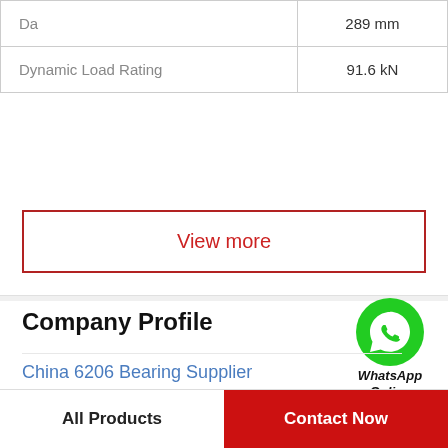| Property | Value |
| --- | --- |
| Da | 289 mm |
| Dynamic Load Rating | 91.6 kN |
View more
Company Profile
China 6206 Bearing Supplier
Phone  +1-205-921-1016
View more
All Products   Contact Now